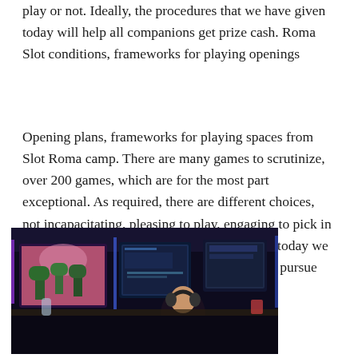play or not. Ideally, the procedures that we have given today will help all companions get prize cash. Roma Slot conditions, frameworks for playing openings
Opening plans, frameworks for playing spaces from Slot Roma camp. There are many games to scrutinize, over 200 games, which are for the most part exceptional. As required, there are different choices, not incapacitating, pleasing to play, engaging to pick in fact. Space games are easy to play. Clear and today we have conveyed space games for everybody to pursue free.
[Figure (photo): People playing video games at a gaming cafe or LAN center, with multiple monitors displaying colorful games, person with headphones visible in foreground, dark blue ambient lighting]